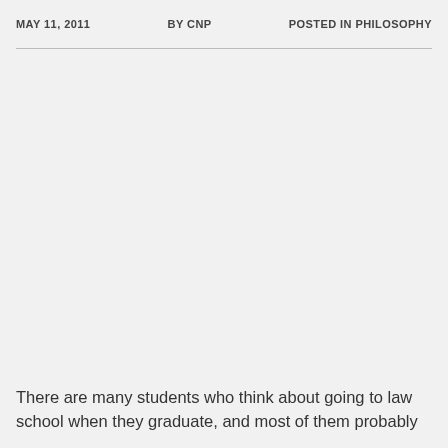MAY 11, 2011   BY CNP   POSTED IN PHILOSOPHY
There are many students who think about going to law school when they graduate, and most of them probably